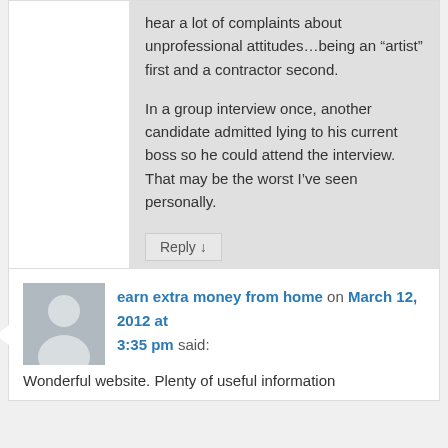hear a lot of complaints about unprofessional attitudes…being an “artist” first and a contractor second.
In a group interview once, another candidate admitted lying to his current boss so he could attend the interview. That may be the worst I’ve seen personally.
Reply ↓
earn extra money from home on March 12, 2012 at 3:35 pm said:
Wonderful website. Plenty of useful information